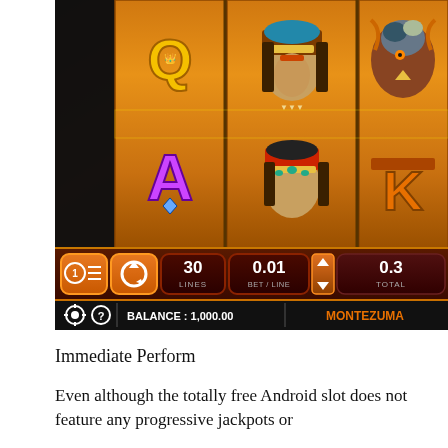[Figure (screenshot): Screenshot of a mobile slot machine game showing reels with Egyptian-themed symbols (Queen 'Q', Ace 'A', female Egyptian figures, eagle/hawk bird, King 'K'), with game controls at bottom showing 30 LINES, 0.01 BET/LINE, 0.3 TOTAL, balance 1,000.00, and game name MONTEZUMA]
Immediate Perform
Even although the totally free Android slot does not feature any progressive jackpots or